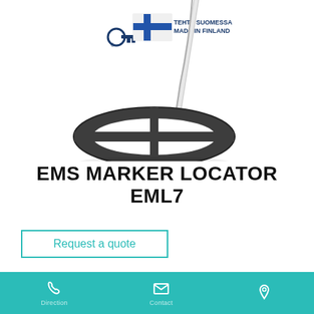[Figure (photo): EMS Marker Locator EML7 product photo showing the circular search coil/disc head with a metal rod/handle, and a 'Tehty Suomessa / Made in Finland' logo badge in the upper left area of the image.]
EMS MARKER LOCATOR EML7
Request a quote
Product ID: V00150
Direction  Contact  Location